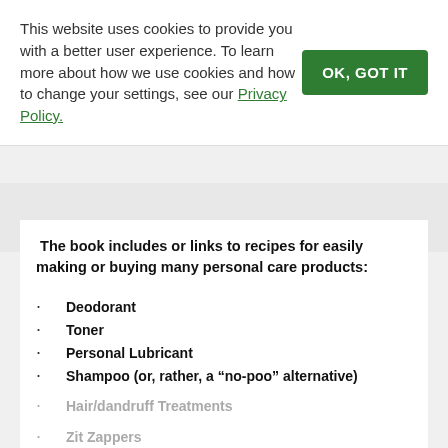This website uses cookies to provide you with a better user experience. To learn more about how we use cookies and how to change your settings, see our Privacy Policy.
OK, GOT IT
The book includes or links to recipes for easily making or buying many personal care products:
Deodorant
Toner
Personal Lubricant
Shampoo (or, rather, a “no-poo” alternative)
Facial Masks
Hair/dandruff Treatments
Zit Zappers